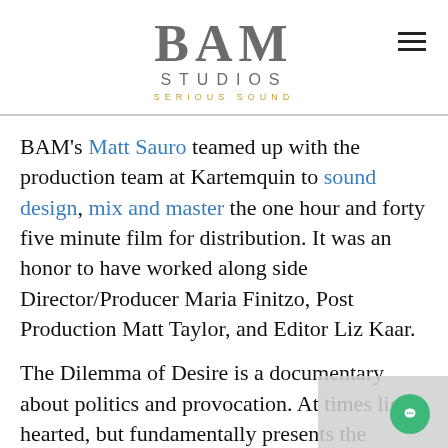[Figure (logo): BAM Studios Serious Sound logo with hamburger menu icon]
BAM's Matt Sauro teamed up with the production team at Kartemquin to sound design, mix and master the one hour and forty five minute film for distribution. It was an honor to have worked along side Director/Producer Maria Finitzo, Post Production Matt Taylor, and Editor Liz Kaar.
The Dilemma of Desire is a documentary about politics and provocation. At times lighthearted, but fundamentally presents the